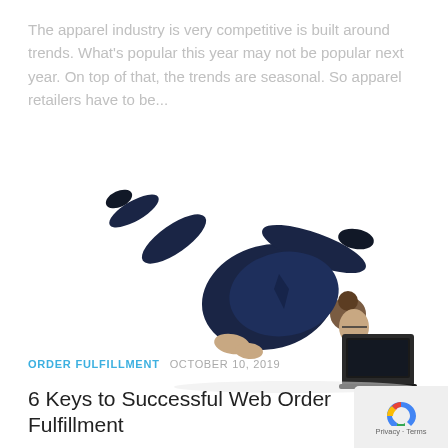The apparel industry is very competitive is built around trends. What's popular this year may not be popular next year. On top of that, the trends are seasonal. So apparel retailers have to be...
[Figure (photo): A person dressed in a dark navy business suit doing a yoga/acrobatic pose (crow or planche position), balancing horizontally with their face close to a dark laptop on the ground. White background.]
ORDER FULFILLMENT  OCTOBER 10, 2019
6 Keys to Successful Web Order Fulfillment